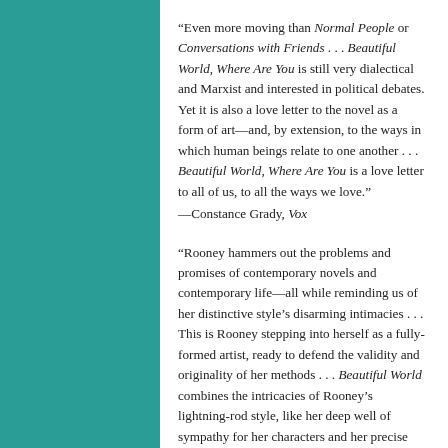“Even more moving than Normal People or Conversations with Friends . . . Beautiful World, Where Are You is still very dialectical and Marxist and interested in political debates. Yet it is also a love letter to the novel as a form of art—and, by extension, to the ways in which human beings relate to one another . . . Beautiful World, Where Are You is a love letter to all of us, to all the ways we love.” —Constance Grady, Vox
“Rooney hammers out the problems and promises of contemporary novels and contemporary life—all while reminding us of her distinctive style’s disarming intimacies . . . This is Rooney stepping into herself as a fully-formed artist, ready to defend the validity and originality of her methods . . . Beautiful World combines the intricacies of Rooney’s lightning-rod style, like her deep well of sympathy for her characters and her precise economy of language, with a growing maturity.” —Adrienne Westenfeld, Esquire